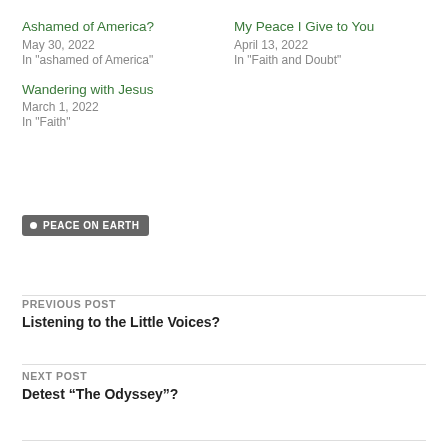Ashamed of America?
May 30, 2022
In "ashamed of America"
My Peace I Give to You
April 13, 2022
In "Faith and Doubt"
Wandering with Jesus
March 1, 2022
In "Faith"
PEACE ON EARTH
PREVIOUS POST
Listening to the Little Voices?
NEXT POST
Detest “The Odyssey”?